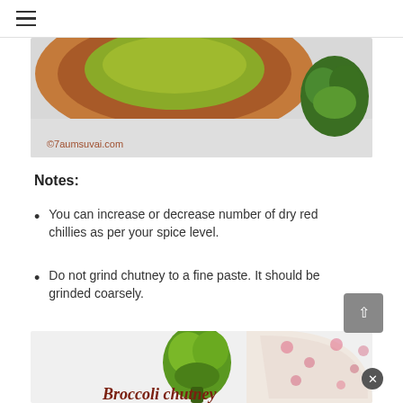≡ (hamburger menu icon)
[Figure (photo): Partial view of a clay/terracotta bowl containing a green-yellow dish (likely chutney), with a broccoli floret visible at right. Watermark: ©7aumsuvai.com]
Notes:
You can increase or decrease number of dry red chillies as per your spice level.
Do not grind chutney to a fine paste. It should be grinded coarsely.
[Figure (photo): Photo of fresh broccoli florets next to a floral-patterned fabric/cloth, with the text 'Broccoli chutney' in cursive at the bottom.]